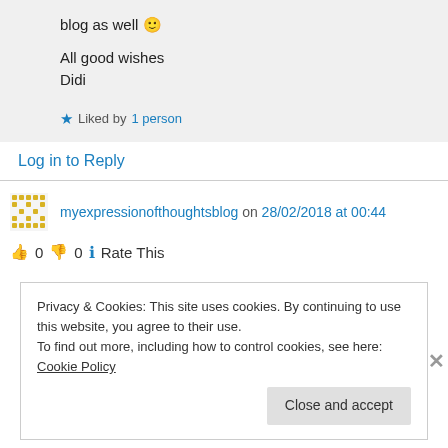blog as well 🙂
All good wishes
Didi
★ Liked by 1 person
Log in to Reply
myexpressionofthoughtsblog on 28/02/2018 at 00:44
👍 0 👎 0 ℹ Rate This
Privacy & Cookies: This site uses cookies. By continuing to use this website, you agree to their use.
To find out more, including how to control cookies, see here: Cookie Policy
Close and accept